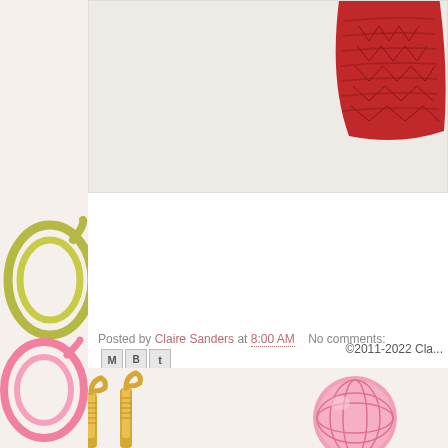[Figure (illustration): Blog page partial view showing a red knitting swatch in the upper right of an image area, olive/yellow-green yarn loop on the left sidebar, pink yarn loop below it, and crochet hooks and yarn ball at the bottom]
Posted by Claire Sanders at 8:00 AM   No comments:
Labels: Knit & Crochet
Newer Posts
Home
Subscribe to: Posts (Atom)
©2011-2022 Cla...